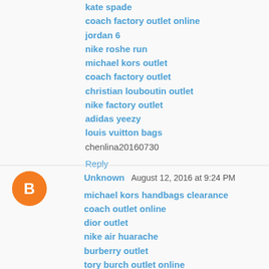kate spade
coach factory outlet online
jordan 6
nike roshe run
michael kors outlet
coach factory outlet
christian louboutin outlet
nike factory outlet
adidas yeezy
louis vuitton bags
chenlina20160730
Reply
Unknown  August 12, 2016 at 9:24 PM
michael kors handbags clearance
coach outlet online
dior outlet
nike air huarache
burberry outlet
tory burch outlet online
michael kors outlet clearance